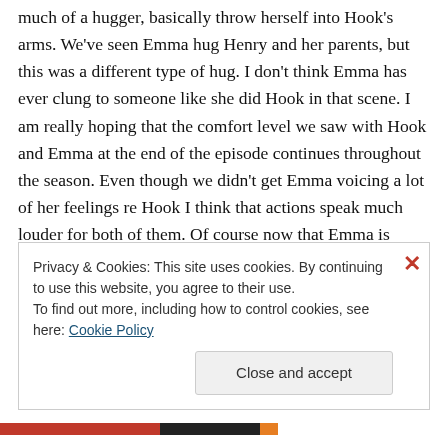much of a hugger, basically throw herself into Hook's arms. We've seen Emma hug Henry and her parents, but this was a different type of hug. I don't think Emma has ever clung to someone like she did Hook in that scene. I am really hoping that the comfort level we saw with Hook and Emma at the end of the episode continues throughout the season. Even though we didn't get Emma voicing a lot of her feelings re Hook I think that actions speak much louder for both of them. Of course now that Emma is opening up to
Privacy & Cookies: This site uses cookies. By continuing to use this website, you agree to their use.
To find out more, including how to control cookies, see here: Cookie Policy